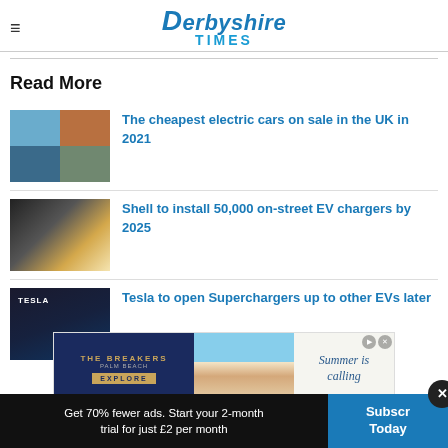Derbyshire Times
Read More
[Figure (photo): Grid of electric cars thumbnail]
The cheapest electric cars on sale in the UK in 2021
[Figure (photo): EV street charger thumbnail]
Shell to install 50,000 on-street EV chargers by 2025
[Figure (photo): Tesla supercharger thumbnail]
Tesla to open Superchargers up to other EVs later
[Figure (photo): The Breakers Palm Beach advertisement banner with Summer is calling text]
Get 70% fewer ads. Start your 2-month trial for just £2 per month
Subscribe Today